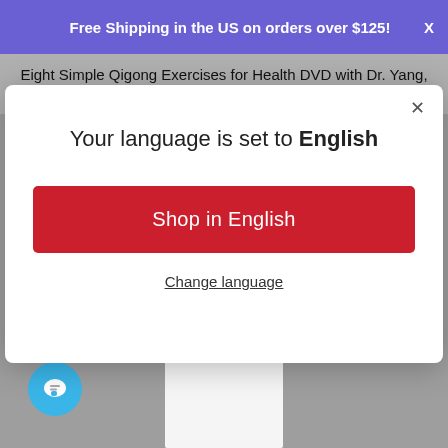Free Shipping in the US on orders over $125!
Eight Simple Qigong Exercises for Health DVD with Dr. Yang, Jwing Ming
Your language is set to English
Shop in English
Change language